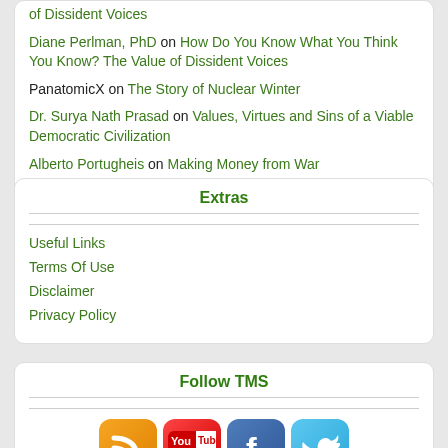of Dissident Voices
Diane Perlman, PhD on How Do You Know What You Think You Know? The Value of Dissident Voices
PanatomicX on The Story of Nuclear Winter
Dr. Surya Nath Prasad on Values, Virtues and Sins of a Viable Democratic Civilization
Alberto Portugheis on Making Money from War
Extras
Useful Links
Terms Of Use
Disclaimer
Privacy Policy
Follow TMS
[Figure (infographic): Four social media icons: RSS (orange), YouTube (red/white), Facebook (blue), Twitter (light blue)]
Embed TMS on your website!